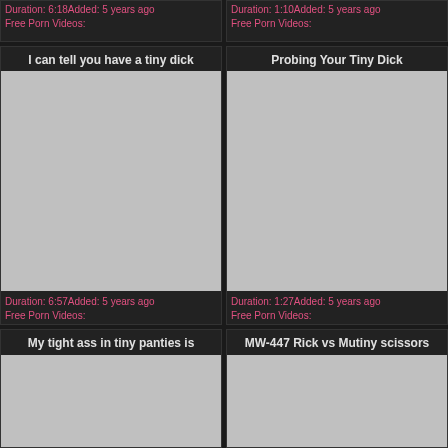Duration: 6:18Added: 5 years ago
Free Porn Videos:
Duration: 1:10Added: 5 years ago
Free Porn Videos:
I can tell you have a tiny dick
[Figure (photo): Video thumbnail placeholder - gray rectangle]
Duration: 6:57Added: 5 years ago
Free Porn Videos:
Probing Your Tiny Dick
[Figure (photo): Video thumbnail placeholder - gray rectangle]
Duration: 1:27Added: 5 years ago
Free Porn Videos:
My tight ass in tiny panties is
[Figure (photo): Video thumbnail placeholder - gray rectangle]
MW-447 Rick vs Mutiny scissors
[Figure (photo): Video thumbnail placeholder - gray rectangle]